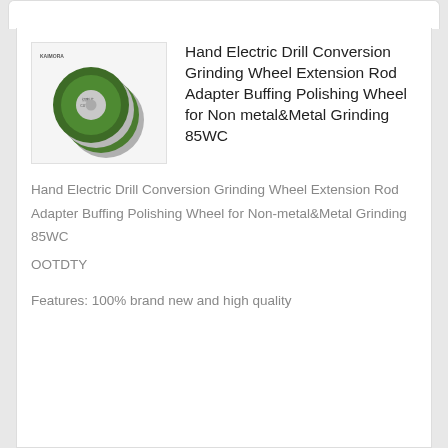[Figure (photo): Product photo showing multiple green and silver grinding/cutting wheels stacked together, with a small brand logo (KAIMORA) in the upper left corner of the image]
Hand Electric Drill Conversion Grinding Wheel Extension Rod Adapter Buffing Polishing Wheel for Non metal&Metal Grinding 85WC
Hand Electric Drill Conversion Grinding Wheel Extension Rod Adapter Buffing Polishing Wheel for Non-metal&Metal Grinding 85WC
OOTDTY
Features: 100% brand new and high quality